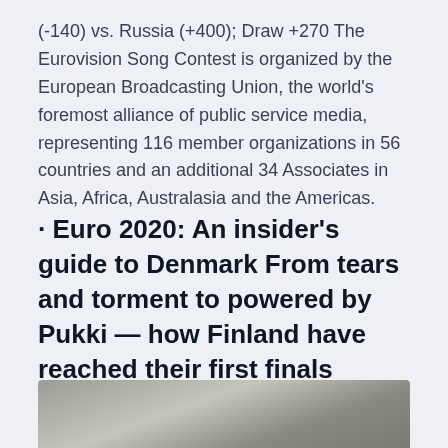(-140) vs. Russia (+400); Draw +270 The Eurovision Song Contest is organized by the European Broadcasting Union, the world's foremost alliance of public service media, representing 116 member organizations in 56 countries and an additional 34 Associates in Asia, Africa, Australasia and the Americas.
· Euro 2020: An insider's guide to Denmark From tears and torment to powered by Pukki — how Finland have reached their first finals Belgium (-140) vs. Russia (+400); Draw +270
[Figure (photo): Partial photo visible at bottom of page, appears to show a dark-colored subject against a lighter background.]